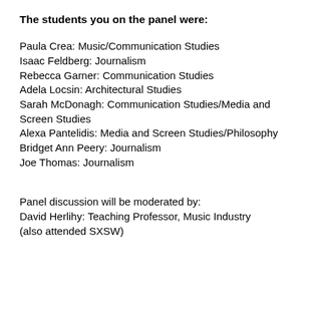The students you on the panel were:
Paula Crea: Music/Communication Studies
Isaac Feldberg: Journalism
Rebecca Garner: Communication Studies
Adela Locsin: Architectural Studies
Sarah McDonagh: Communication Studies/Media and Screen Studies
Alexa Pantelidis: Media and Screen Studies/Philosophy
Bridget Ann Peery: Journalism
Joe Thomas: Journalism
Panel discussion will be moderated by:
David Herlihy: Teaching Professor, Music Industry
(also attended SXSW)